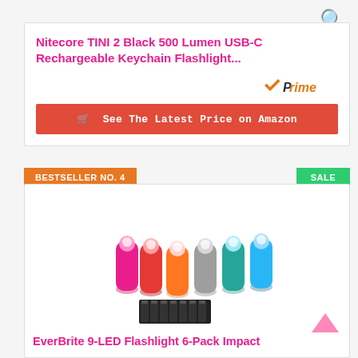🔍
Nitecore TINI 2 Black 500 Lumen USB-C Rechargeable Keychain Flashlight...
[Figure (logo): Amazon Prime logo with orange checkmark and italic 'Prime' text]
See The Latest Price on Amazon
BESTSELLER NO. 4
SALE
[Figure (photo): Six colorful small flashlights (pink, red, orange, grey, teal, blue) arranged in a fan layout, with a pack of batteries below them]
EverBrite 9-LED Flashlight 6-Pack Impact